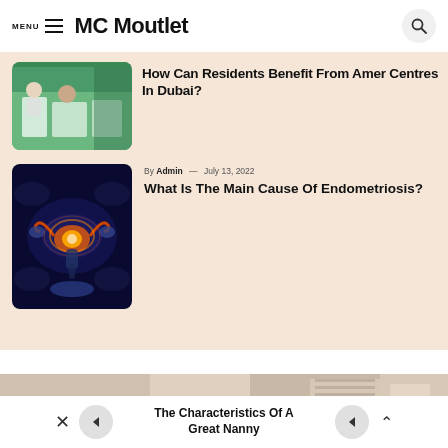MENU  MC Moutlet
How Can Residents Benefit From Amer Centres In Dubai?
[Figure (photo): Office or service center scene with people seated at desks, green themed interior]
By Admin — July 13, 2022
What Is The Main Cause Of Endometriosis?
[Figure (photo): Medical illustration of female reproductive system with glowing orange/red highlight, dark blue background]
[Figure (photo): Partial view of a room, beige/neutral tones]
The Characteristics Of A Great Nanny